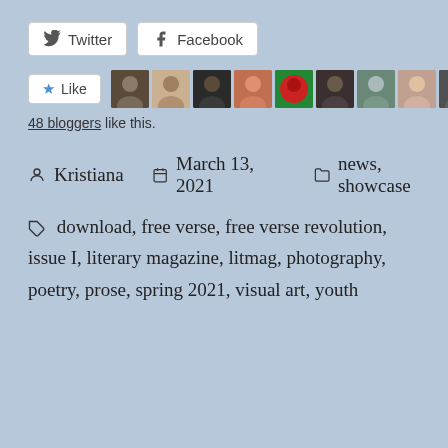[Figure (screenshot): Twitter and Facebook share buttons, white rounded rectangle buttons with icons]
[Figure (screenshot): Like button with star icon and row of 10 blogger avatar thumbnails]
48 bloggers like this.
Kristiana   March 13, 2021   news, showcase
download, free verse, free verse revolution, issue I, literary magazine, litmag, photography, poetry, prose, spring 2021, visual art, youth